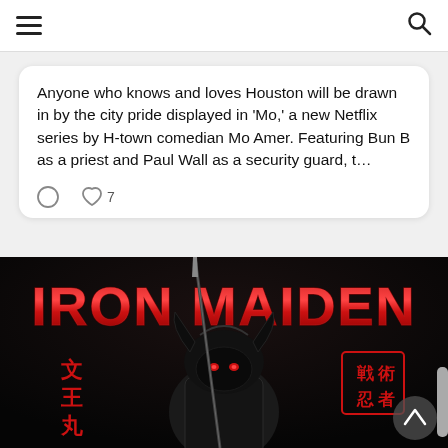Navigation header with hamburger menu and search icon
Anyone who knows and loves Houston will be drawn in by the city pride displayed in 'Mo,' a new Netflix series by H-town comedian Mo Amer. Featuring Bun B as a priest and Paul Wall as a security guard, t…
[Figure (photo): Iron Maiden album art / promotional image featuring a samurai warrior (Eddie) in armor with the band's logo in red metallic letters at the top and Japanese kanji characters on the sides]